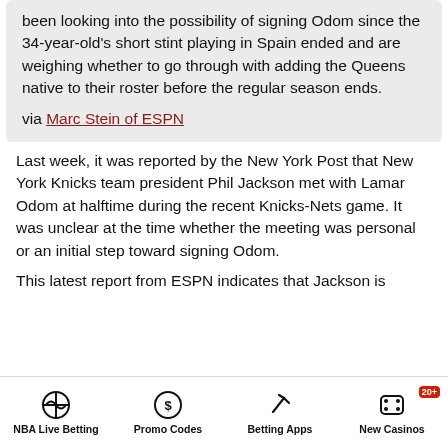been looking into the possibility of signing Odom since the 34-year-old's short stint playing in Spain ended and are weighing whether to go through with adding the Queens native to their roster before the regular season ends.
via Marc Stein of ESPN
Last week, it was reported by the New York Post that New York Knicks team president Phil Jackson met with Lamar Odom at halftime during the recent Knicks-Nets game. It was unclear at the time whether the meeting was personal or an initial step toward signing Odom.
This latest report from ESPN indicates that Jackson is
NBA Live Betting | Promo Codes | Betting Apps | New Casinos